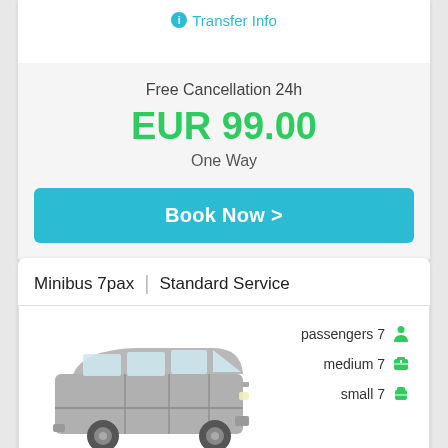Transfer Info
Free Cancellation 24h
EUR 99.00
One Way
Book Now >
Minibus 7pax | Standard Service
passengers 7
medium 7
small 7
[Figure (illustration): Silver/grey Ford Transit style minibus van, side view, facing left]